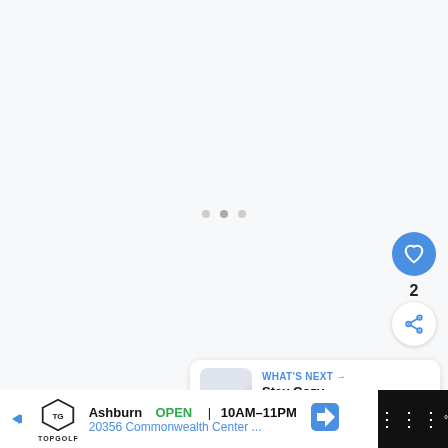[Figure (screenshot): Mostly blank/loading white-gray content area with three small dots indicating a loading carousel]
[Figure (screenshot): UI overlay: Blue circular like/heart button, like count of 2, white circular share button]
[Figure (screenshot): What's Next panel: thumbnail of a room/camera, label WHAT'S NEXT with arrow, text 'Stay Cozy This Winter...']
[Figure (screenshot): Bottom ad bar: Topgolf advertisement — Ashburn OPEN 10AM-11PM, 20356 Commonwealth Center..., right side shows menu dots icon]